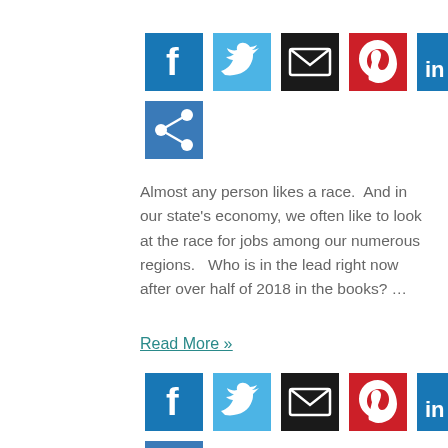[Figure (infographic): Social media share buttons: Facebook, Twitter, Email, Pinterest (top row); LinkedIn, Share (bottom row)]
Almost any person likes a race.  And in our state's economy, we often like to look at the race for jobs among our numerous regions.   Who is in the lead right now after over half of 2018 in the books? …
Read More »
[Figure (infographic): Social media share buttons repeated: Facebook, Twitter, Email, Pinterest (top row); LinkedIn, Share (bottom row)]